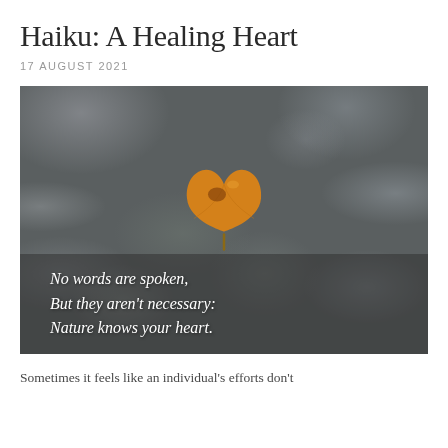Haiku: A Healing Heart
17 AUGUST 2021
[Figure (photo): A heart-shaped orange/golden leaf resting on a dark grey textured rock surface, with an overlaid italic white text haiku: 'No words are spoken, But they aren't necessary: Nature knows your heart.']
Sometimes it feels like an individual's efforts don't